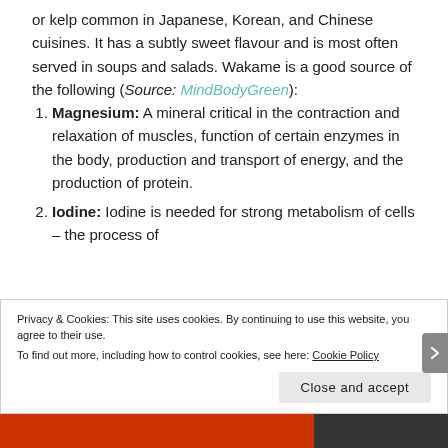or kelp common in Japanese, Korean, and Chinese cuisines. It has a subtly sweet flavour and is most often served in soups and salads. Wakame is a good source of the following (Source: MindBodyGreen):
Magnesium: A mineral critical in the contraction and relaxation of muscles, function of certain enzymes in the body, production and transport of energy, and the production of protein.
Iodine: Iodine is needed for strong metabolism of cells – the process of
Privacy & Cookies: This site uses cookies. By continuing to use this website, you agree to their use. To find out more, including how to control cookies, see here: Cookie Policy